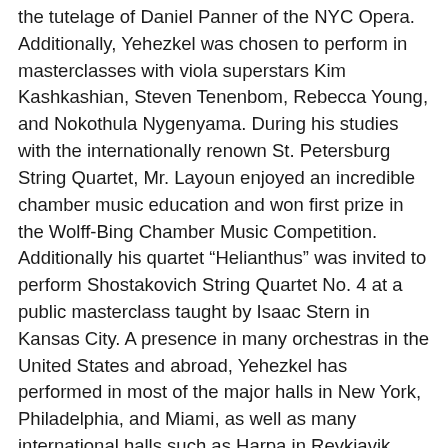the tutelage of Daniel Panner of the NYC Opera. Additionally, Yehezkel was chosen to perform in masterclasses with viola superstars Kim Kashkashian, Steven Tenenbom, Rebecca Young, and Nokothula Nygenyama. During his studies with the internationally renown St. Petersburg String Quartet, Mr. Layoun enjoyed an incredible chamber music education and won first prize in the Wolff-Bing Chamber Music Competition. Additionally his quartet “Helianthus” was invited to perform Shostakovich String Quartet No. 4 at a public masterclass taught by Isaac Stern in Kansas City. A presence in many orchestras in the United States and abroad, Yehezkel has performed in most of the major halls in New York, Philadelphia, and Miami, as well as many international halls such as Harpa in Reykjavik, Iceland and the Rundfunk Sendsaal in Berlin. In Berlin, Yehezkel led the Silk Road Symphony Orchestra’s viola section and together recorded an album of Beethoven, Prokofiev, and Pärt in the Jesus Christus Kirche in Berlin-Dahlem. Equally notable, Yehezkel was chosen among three other artists to be featured in Newport Music Festivals “Young Professional Artist” program in 2019.